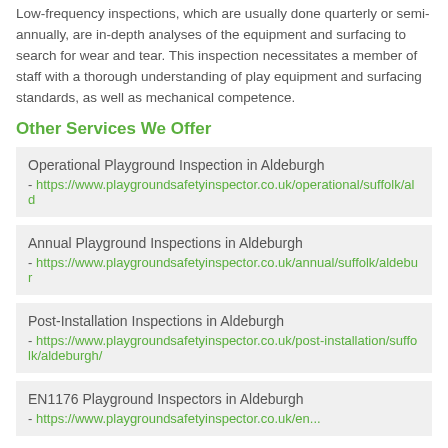Low-frequency inspections, which are usually done quarterly or semi-annually, are in-depth analyses of the equipment and surfacing to search for wear and tear. This inspection necessitates a member of staff with a thorough understanding of play equipment and surfacing standards, as well as mechanical competence.
Other Services We Offer
Operational Playground Inspection in Aldeburgh - https://www.playgroundsafetyinspector.co.uk/operational/suffolk/ald...
Annual Playground Inspections in Aldeburgh - https://www.playgroundsafetyinspector.co.uk/annual/suffolk/aldebur...
Post-Installation Inspections in Aldeburgh - https://www.playgroundsafetyinspector.co.uk/post-installation/suffolk/aldeburgh/
EN1176 Playground Inspectors in Aldeburgh - https://www.playgroundsafetyinspector.co.uk/en...